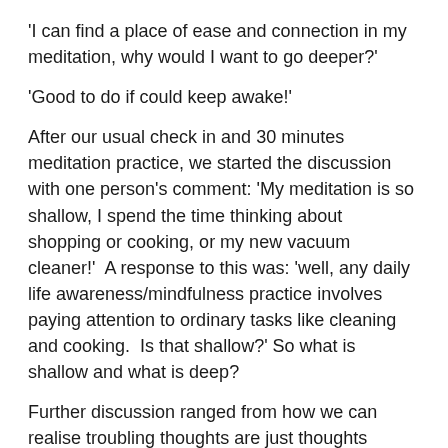'I can find a place of ease and connection in my meditation, why would I want to go deeper?'
'Good to do if could keep awake!'
After our usual check in and 30 minutes meditation practice, we started the discussion with one person's comment: 'My meditation is so shallow, I spend the time thinking about shopping or cooking, or my new vacuum cleaner!'  A response to this was: 'well, any daily life awareness/mindfulness practice involves paying attention to ordinary tasks like cleaning and cooking.  Is that shallow?' So what is shallow and what is deep?
Further discussion ranged from how we can realise troubling thoughts are just thoughts happening in the present and not in the time of memory; how this is so hard to do as the thoughts are experienced along with